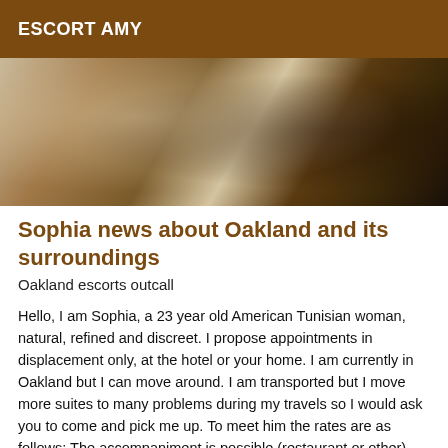ESCORT AMY
[Figure (photo): Indoor photo showing draped fabric/curtains on the left side and dark shelving or rack structure on the right side, dimly lit interior]
Sophia news about Oakland and its surroundings
Oakland escorts outcall
Hello, I am Sophia, a 23 year old American Tunisian woman, natural, refined and discreet. I propose appointments in displacement only, at the hotel or your home. I am currently in Oakland but I can move around. I am transported but I move more suites to many problems during my travels so I would ask you to come and pick me up. To meet him the rates are as follows: The accompaniment is possible (restaurant or other). 150 roses half an hour 200 roses one hour 350 roses